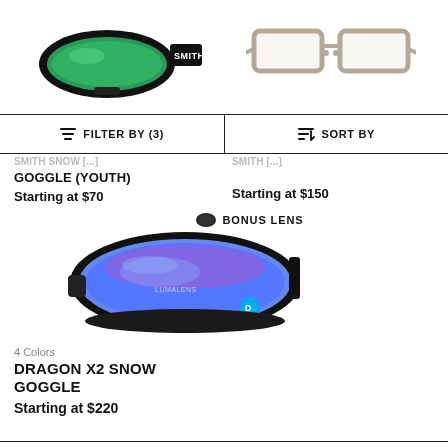[Figure (photo): Smith snow goggle with green lens on left, clear-framed eyeglasses on right]
FILTER BY (3)
SORT BY
SMITH SNOW [partially visible] GOGGLE (YOUTH)
Starting at $70
[partially visible product name]
Starting at $150
BONUS LENS
[Figure (photo): Dragon X2 Snow Goggle with blue/purple mirrored lens and black strap with blue Dragon logo]
4 Colors
DRAGON X2 SNOW GOGGLE
Starting at $220